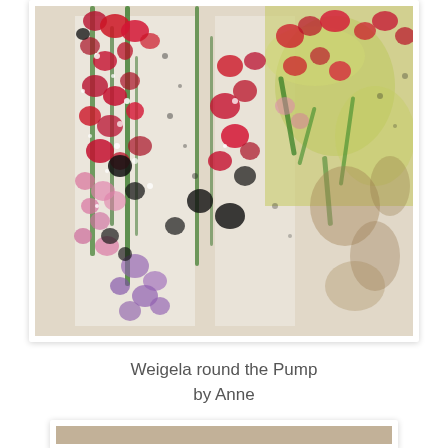[Figure (illustration): A colorful abstract painting showing weigela flowers in red, pink, green, black, and purple tones around a pump, with white background visible between the brushstrokes.]
Weigela round the Pump
by Anne
[Figure (photo): Bottom portion of a second artwork, partially visible, showing a beige/tan background.]